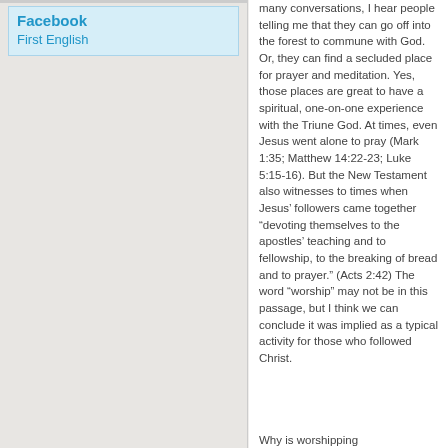Facebook
First English
many conversations, I hear people telling me that they can go off into the forest to commune with God.  Or, they can find a secluded place for prayer and meditation.  Yes, those places are great to have a spiritual, one-on-one experience with the Triune God.  At times, even Jesus went alone to pray (Mark 1:35; Matthew 14:22-23; Luke 5:15-16).  But the New Testament also witnesses to times when Jesus' followers came together “devoting themselves to the apostles’ teaching and to fellowship, to the breaking of bread and to prayer.” (Acts 2:42)  The word “worship” may not be in this passage, but I think we can conclude it was implied as a typical activity for those who followed Christ.
Why is worshipping